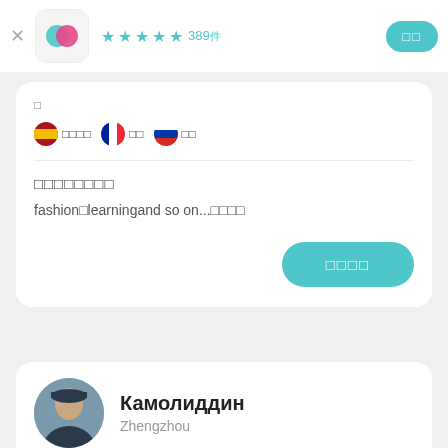[Figure (screenshot): App icon with pink/teal overlapping circles logo]
★★★★½ 389件
件
🇪🇸 スペイン語 🇫🇷 フランス語 🇷🇺 ロシア語
興味のあること
fashion、learningand so on...など
つながる
Камолиддин
Zhengzhou